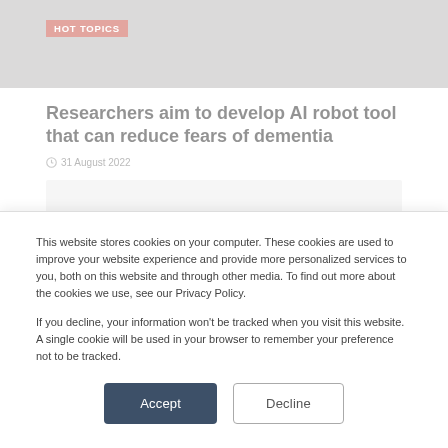[Figure (photo): Blurred background photo with a red 'HOT TOPICS' badge overlay]
Researchers aim to develop AI robot tool that can reduce fears of dementia
31 August 2022
[Figure (other): Grey placeholder content box]
This website stores cookies on your computer. These cookies are used to improve your website experience and provide more personalized services to you, both on this website and through other media. To find out more about the cookies we use, see our Privacy Policy.
If you decline, your information won't be tracked when you visit this website. A single cookie will be used in your browser to remember your preference not to be tracked.